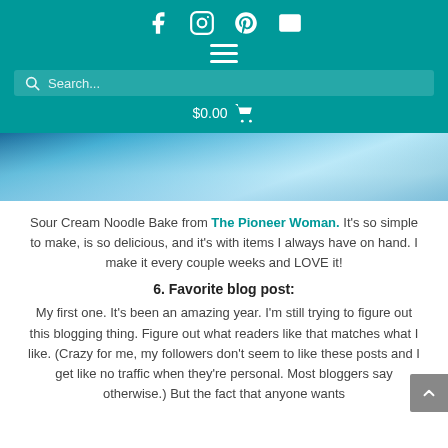Social icons (Facebook, Instagram, Pinterest, Email), hamburger menu, Search bar, $0.00 cart
[Figure (photo): Blue icy/watery background image, cropped hero image]
Sour Cream Noodle Bake from The Pioneer Woman.  It’s so simple to make, is so delicious, and it’s with items I always have on hand.  I make it every couple weeks and LOVE it!
6. Favorite blog post:
My first one.  It’s been an amazing year.  I’m still trying to figure out this blogging thing.  Figure out what readers like that matches what I like.  (Crazy for me, my followers don’t seem to like these posts and I get like no traffic when they’re personal.  Most bloggers say otherwise.) But the fact that anyone wants